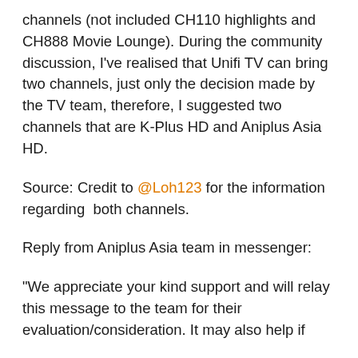channels (not included CH110 highlights and CH888 Movie Lounge). During the community discussion, I've realised that Unifi TV can bring two channels, just only the decision made by the TV team, therefore, I suggested two channels that are K-Plus HD and Aniplus Asia HD.
Source: Credit to @Loh123 for the information regarding  both channels.
Reply from Aniplus Asia team in messenger:
"We appreciate your kind support and will relay this message to the team for their evaluation/consideration. It may also help if